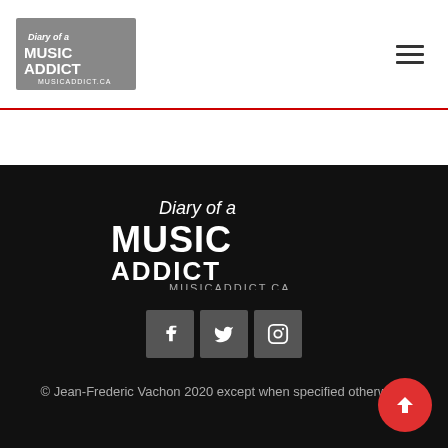[Figure (logo): Diary of a Music Addict logo in header, grey background]
[Figure (logo): Diary of a Music Addict large logo in footer, white on black, musicaddict.ca]
[Figure (other): Social media icons: Facebook, Twitter, Instagram]
© Jean-Frederic Vachon 2020 except when specified otherwise.